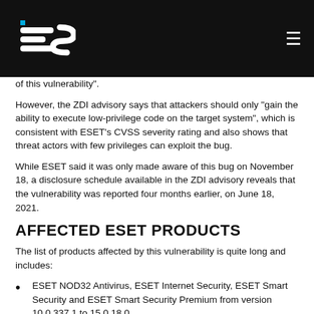ES logo and navigation
of this vulnerability".
However, the ZDI advisory says that attackers should only "gain the ability to execute low-privilege code on the target system", which is consistent with ESET's CVSS severity rating and also shows that threat actors with few privileges can exploit the bug.
While ESET said it was only made aware of this bug on November 18, a disclosure schedule available in the ZDI advisory reveals that the vulnerability was reported four months earlier, on June 18, 2021.
AFFECTED ESET PRODUCTS
The list of products affected by this vulnerability is quite long and includes:
ESET NOD32 Antivirus, ESET Internet Security, ESET Smart Security and ESET Smart Security Premium from version 10.0.337.1 to 15.0.18.0
ESET Endpoint Antivirus for Windows and ESET Endpoint Security for Windows from version 6.6.2046.0 to 9.0.2032.4